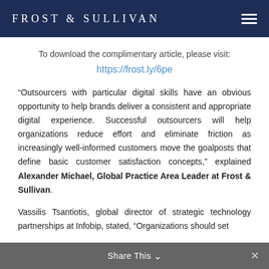FROST & SULLIVAN
To download the complimentary article, please visit:
https://frost.ly/6pe
“Outsourcers with particular digital skills have an obvious opportunity to help brands deliver a consistent and appropriate digital experience. Successful outsourcers will help organizations reduce effort and eliminate friction as increasingly well-informed customers move the goalposts that define basic customer satisfaction concepts,” explained Alexander Michael, Global Practice Area Leader at Frost & Sullivan.
Vassilis Tsantiotis, global director of strategic technology partnerships at Infobip, stated, “Organizations should set
Share This